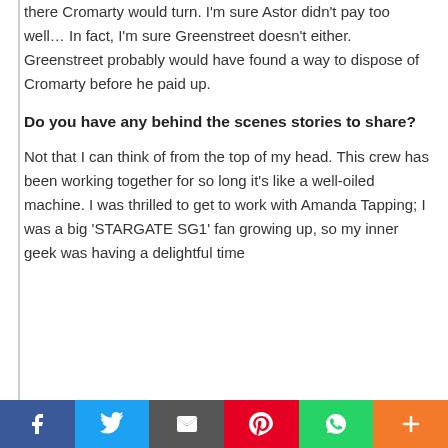there Cromarty would turn. I'm sure Astor didn't pay too well… In fact, I'm sure Greenstreet doesn't either. Greenstreet probably would have found a way to dispose of Cromarty before he paid up.
Do you have any behind the scenes stories to share?
Not that I can think of from the top of my head. This crew has been working together for so long it's like a well-oiled machine. I was thrilled to get to work with Amanda Tapping; I was a big 'STARGATE SG1' fan growing up, so my inner geek was having a delightful time